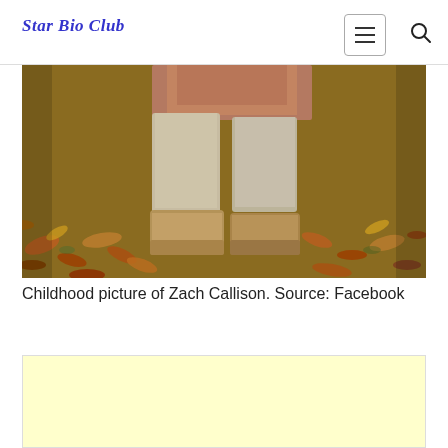Star Bio Club
[Figure (photo): Childhood photo of Zach Callison showing legs and boots walking on autumn leaf-covered ground, wearing light beige/cream pants and tan boots, with a pinkish-orange top visible at the top edge.]
Childhood picture of Zach Callison. Source: Facebook
[Figure (other): Advertisement placeholder box with light yellow background]